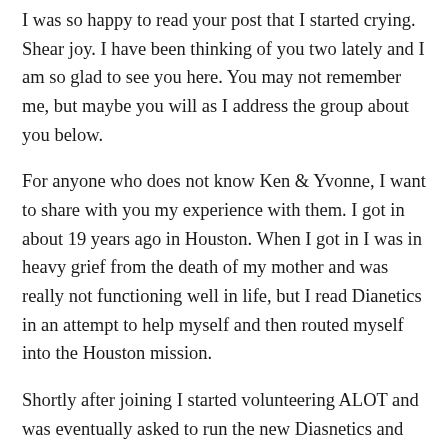I was so happy to read your post that I started crying. Shear joy. I have been thinking of you two lately and I am so glad to see you here. You may not remember me, but maybe you will as I address the group about you below.
For anyone who does not know Ken & Yvonne, I want to share with you my experience with them. I got in about 19 years ago in Houston. When I got in I was in heavy grief from the death of my mother and was really not functioning well in life, but I read Dianetics in an attempt to help myself and then routed myself into the Houston mission.
Shortly after joining I started volunteering ALOT and was eventually asked to run the new Diasnetics and Scn bookstore downtown. I was